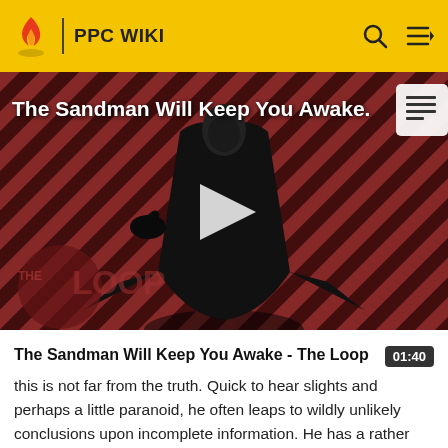PPC WIKI
[Figure (screenshot): Video thumbnail for 'The Sandman Will Keep You Awake - The Loop' showing a dark-cloaked figure against a red and black diagonal striped background, with THE LOOP watermark and a play button overlay]
The Sandman Will Keep You Awake - The Loop
this is not far from the truth. Quick to hear slights and perhaps a little paranoid, he often leaps to wildly unlikely conclusions upon incomplete information. He has a rather bizarre sense of humor (not unusual in an agent) and is